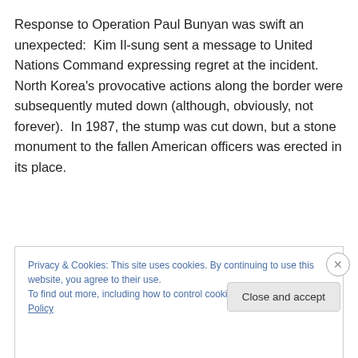Response to Operation Paul Bunyan was swift an unexpected:  Kim Il-sung sent a message to United Nations Command expressing regret at the incident. North Korea's provocative actions along the border were subsequently muted down (although, obviously, not forever).  In 1987, the stump was cut down, but a stone monument to the fallen American officers was erected in its place.
Privacy & Cookies: This site uses cookies. By continuing to use this website, you agree to their use.
To find out more, including how to control cookies, see here: Cookie Policy